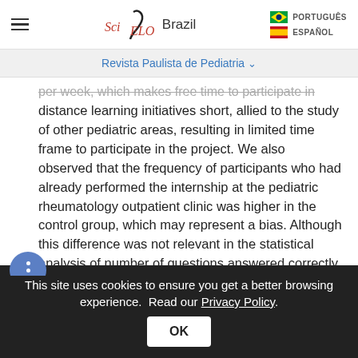SciELO Brazil | PORTUGUÊS | ESPAÑOL
Revista Paulista de Pediatria
per week, which makes free time to participate in distance learning initiatives short, allied to the study of other pediatric areas, resulting in limited time frame to participate in the project. We also observed that the frequency of participants who had already performed the internship at the pediatric rheumatology outpatient clinic was higher in the control group, which may represent a bias. Although this difference was not relevant in the statistical analysis of number of questions answered correctly, in relation to the absolute number of questions answered, the difference
This site uses cookies to ensure you get a better browsing experience. Read our Privacy Policy.